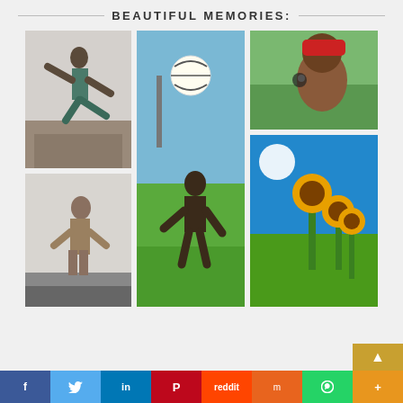BEAUTIFUL MEMORIES:
[Figure (photo): Person jumping/doing martial arts kick against a wall background]
[Figure (photo): Man playing volleyball outdoors on a court, looking up at the ball]
[Figure (photo): Young woman with red hat and sunglasses looking sideways]
[Figure (photo): Man sitting on a chair at a train station or platform]
[Figure (photo): Young woman with long dark hair laughing near a tree]
[Figure (photo): Sunflowers against a bright blue sky with the sun visible]
f  Twitter  in  P  reddit  m  WhatsApp  +